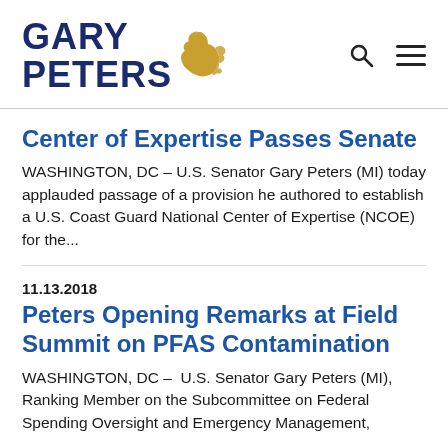GARY PETERS
Center of Expertise Passes Senate
WASHINGTON, DC – U.S. Senator Gary Peters (MI) today applauded passage of a provision he authored to establish a U.S. Coast Guard National Center of Expertise (NCOE) for the...
11.13.2018
Peters Opening Remarks at Field Summit on PFAS Contamination
WASHINGTON, DC –  U.S. Senator Gary Peters (MI), Ranking Member on the Subcommittee on Federal Spending Oversight and Emergency Management,